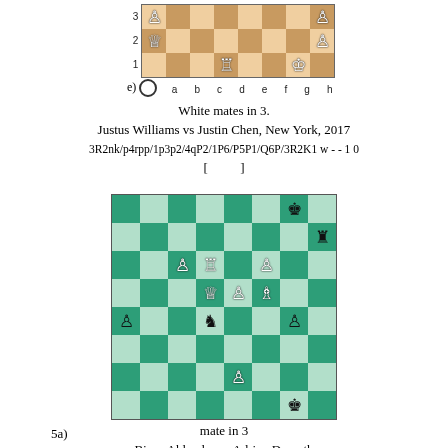[Figure (other): Partial chess board diagram (rows 1-3) labeled 'e)' showing white pieces: pawns on a3, h3, rook on d1, queen on a2, pawn on h2, king on g1. Label e) with circle marker bottom left, file labels a-h along bottom.]
White mates in 3.
Justus Williams vs Justin Chen, New York, 2017
3R2nk/p4rpp/1p3p2/4qP2/1P6/P5P1/Q6P/3R2K1 w - - 1 0
[          ]
[Figure (other): Full 8x8 chess board diagram labeled '5a)' showing pieces in a mate-in-3 puzzle position. Teal and light green squares. Pieces: black king h8, black rook h7, white pawns c6 d6, white rook d6, white pawn f6, white queen d5, white pawn e5, white bishop f5, black pawn a4, black knight d4, black pawn g2, white pawn e2, black king g1, white king f1 area.]
mate in 3
Bjorn Ahlander vs Adrien Demuth